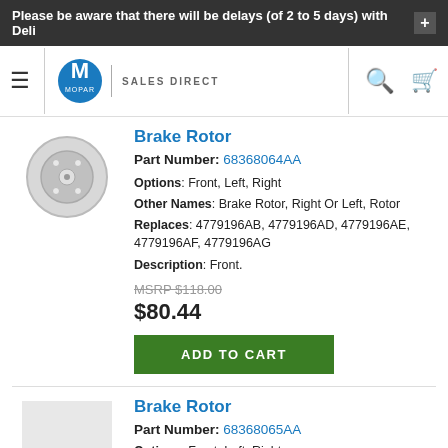Please be aware that there will be delays (of 2 to 5 days) with Deli
[Figure (logo): Mopar Sales Direct logo with hamburger menu, search and cart icons]
Brake Rotor
Part Number: 68368064AA
Options: Front, Left, Right
Other Names: Brake Rotor, Right Or Left, Rotor
Replaces: 4779196AB, 4779196AD, 4779196AE, 4779196AF, 4779196AG
Description: Front.
MSRP $118.00
$80.44
Brake Rotor
Part Number: 68368065AA
Options: Front, Left, Right